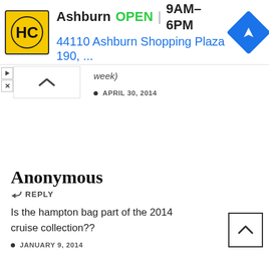[Figure (screenshot): Ad banner for HC Ashburn location showing logo, OPEN status, hours 9AM-6PM, and address 44110 Ashburn Shopping Plaza 190, ... with navigation icon]
week)
APRIL 30, 2014
Anonymous
↩ REPLY
Is the hampton bag part of the 2014 cruise collection??
JANUARY 9, 2014